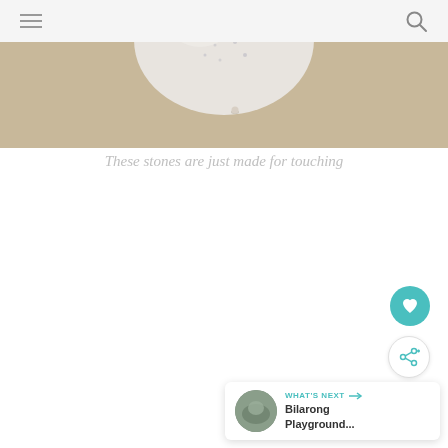[Figure (photo): Close-up photo of a smooth white/grey speckled stone on a sandy beige surface]
These stones are just made for touching
[Figure (other): Heart/like button (teal circle with white heart icon)]
[Figure (other): Share button (white circle with share icon and plus)]
WHAT'S NEXT → Bilarong Playground...